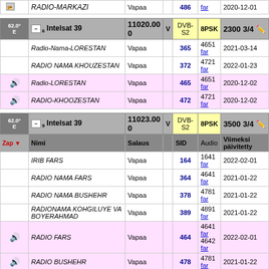|  | Name | Salaus | SID | Audio | Viimeksi päivitetty |
| --- | --- | --- | --- | --- | --- |
| [icon] | RADIO-MARKAZI | Vapaa | 486 | far | 2020-12-01 |
| 62.0° E Intelsat 39 [sat header] | 11020.00 | V | DVB-S2 | 8PSK | 2300 3/4 |
|  | Radio-Nama-LORESTAN | Vapaa | 365 | 4651 far | 2021-03-14 |
|  | RADIO NAMA KHOUZESTAN | Vapaa | 372 | 4721 far | 2022-01-23 |
| [speaker] | Radio-LORESTAN | Vapaa | 465 | 4651 far | 2020-12-02 |
| [speaker] | RADIO-KHOOZESTAN | Vapaa | 472 | 4721 far | 2020-12-02 |
| 62.0° E Intelsat 39 [sat header] | 11023.00 | V | DVB-S2 | 8PSK | 3500 3/4 |
| Zap | Nimi | Salaus | SID | Audio | Viimeksi päivitetty |
|  | IRIB FARS | Vapaa | 164 | 1641 far | 2022-02-01 |
|  | RADIO NAMA FARS | Vapaa | 364 | 4641 far | 2021-01-22 |
|  | RADIO NAMA BUSHEHR | Vapaa | 378 | 4781 far | 2021-01-22 |
|  | RADIONAMA KOHGILUYE VA BOYERAHMAD | Vapaa | 389 | 4891 far | 2021-01-22 |
| [speaker] | RADIO FARS | Vapaa | 464 | 4641 far 4642 far | 2022-02-01 |
| [speaker] | RADIO BUSHEHR | Vapaa | 478 | 4781 far | 2021-01-22 |